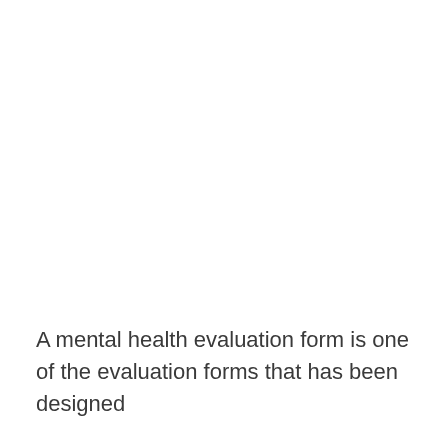A mental health evaluation form is one of the evaluation forms that has been designed